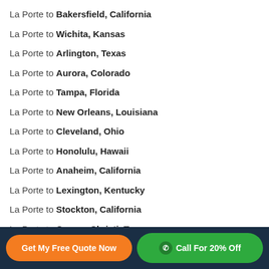La Porte to Bakersfield, California
La Porte to Wichita, Kansas
La Porte to Arlington, Texas
La Porte to Aurora, Colorado
La Porte to Tampa, Florida
La Porte to New Orleans, Louisiana
La Porte to Cleveland, Ohio
La Porte to Honolulu, Hawaii
La Porte to Anaheim, California
La Porte to Lexington, Kentucky
La Porte to Stockton, California
La Porte to Corpus Christi, Texas
La Porte to Henderson, Nevada
Get My Free Quote Now | Call For 20% Off